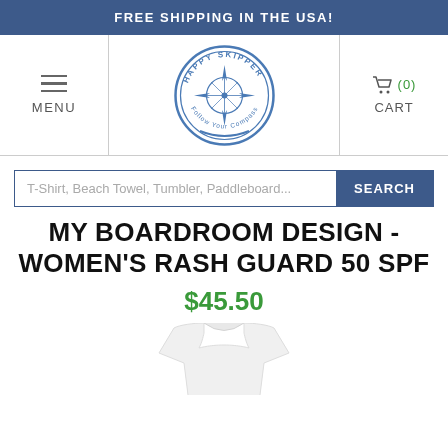FREE SHIPPING IN THE USA!
[Figure (logo): Happy Skipper circular logo with compass rose and text 'Follow Your Compass']
MENU
(0) CART
T-Shirt, Beach Towel, Tumbler, Paddleboard... SEARCH
MY BOARDROOM DESIGN - WOMEN'S RASH GUARD 50 SPF
$45.50
[Figure (photo): White women's rash guard shirt product photo on white background]